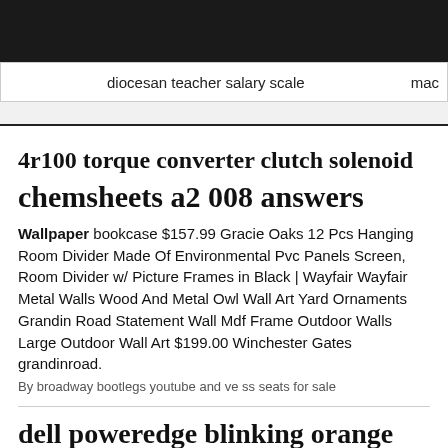diocesan teacher salary scale   mac
4r100 torque converter clutch solenoid
chemsheets a2 008 answers
Wallpaper bookcase $157.99 Gracie Oaks 12 Pcs Hanging Room Divider Made Of Environmental Pvc Panels Screen, Room Divider w/ Picture Frames in Black | Wayfair Wayfair Metal Walls Wood And Metal Owl Wall Art Yard Ornaments Grandin Road Statement Wall Mdf Frame Outdoor Walls Large Outdoor Wall Art $199.00 Winchester Gates grandinroad.
By broadway bootlegs youtube and ve ss seats for sale
dell poweredge blinking orange light
(Of course, the interior accessories will cost more, but I'd have to